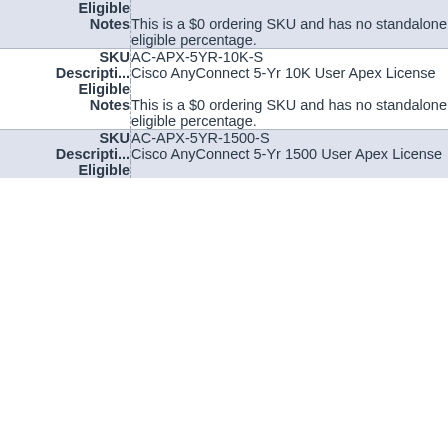| Field | Value |
| --- | --- |
| Eligible |  |
| Notes | This is a $0 ordering SKU and has no standalone eligible percentage. |
| SKU | AC-APX-5YR-10K-S |
| Descripti... | Cisco AnyConnect 5-Yr 10K User Apex License |
| Eligible |  |
| Notes | This is a $0 ordering SKU and has no standalone eligible percentage. |
| SKU | AC-APX-5YR-1500-S |
| Descripti... | Cisco AnyConnect 5-Yr 1500 User Apex License |
| Eligible |  |